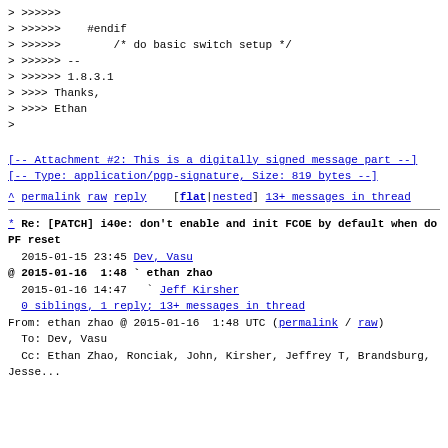> >>>>>>
> >>>>>>    #endif
> >>>>>>        /* do basic switch setup */
> >>>>>> --
> >>>>>> 1.8.3.1
> >>>> Thanks,
> >>>> Ethan
>
[-- Attachment #2: This is a digitally signed message part --]
[-- Type: application/pgp-signature, Size: 819 bytes --]
^ permalink raw reply    [flat|nested] 13+ messages in thread
* Re: [PATCH] i40e: don't enable and init FCOE by default when do PF reset
  2015-01-15 23:45 Dev, Vasu
@ 2015-01-16  1:48 ` ethan zhao
  2015-01-16 14:47   ` Jeff Kirsher
  0 siblings, 1 reply; 13+ messages in thread
From: ethan zhao @ 2015-01-16  1:48 UTC (permalink / raw)
  To: Dev, Vasu
  Cc: Ethan Zhao, Ronciak, John, Kirsher, Jeffrey T, Brandsburg, Jesse...